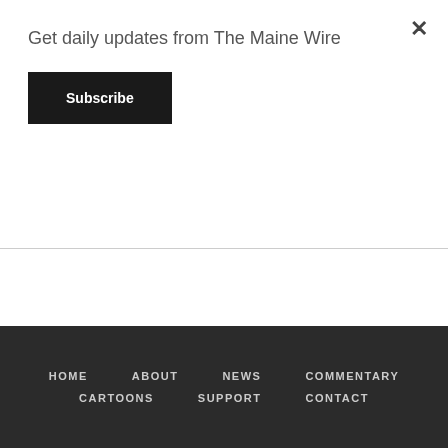Get daily updates from The Maine Wire
Subscribe
HOME   ABOUT   NEWS   COMMENTARY   CARTOONS   SUPPORT   CONTACT